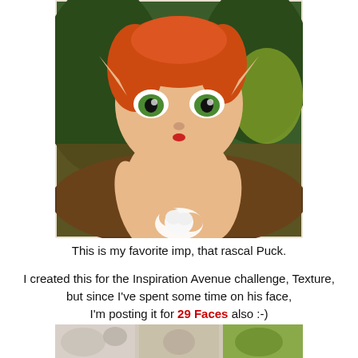[Figure (illustration): Digital painting of a fairy imp character named Puck with red/orange hair, large green eyes, pointed ears, pale peach skin, holding a small white fluffy object. Background shows green foliage and warm brown tones. Painted in a stylized fantasy art style.]
This is my favorite imp, that rascal Puck.
I created this for the Inspiration Avenue challenge, Texture, but since I've spent some time on his face, I'm posting it for 29 Faces also :-)
[Figure (photo): Partial view of a second image showing crafting or art supplies including what appears to be fabric, buttons, and green items, partially visible at the bottom of the page.]